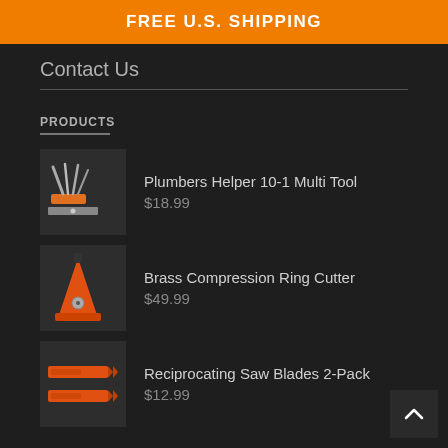FREE U.S. SHIPPING
Contact Us
PRODUCTS
Plumbers Helper 10-1 Multi Tool
$18.99
Brass Compression Ring Cutter
$49.99
Reciprocating Saw Blades 2-Pack
$12.99